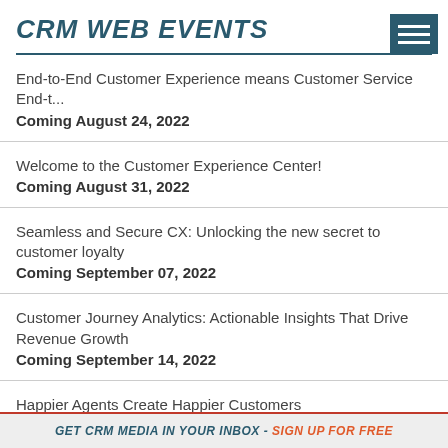CRM WEB EVENTS
End-to-End Customer Experience means Customer Service End-to-...
Coming August 24, 2022
Welcome to the Customer Experience Center!
Coming August 31, 2022
Seamless and Secure CX: Unlocking the new secret to customer loyalty
Coming September 07, 2022
Customer Journey Analytics: Actionable Insights That Drive Revenue Growth
Coming September 14, 2022
Happier Agents Create Happier Customers
GET CRM MEDIA IN YOUR INBOX - SIGN UP FOR FREE